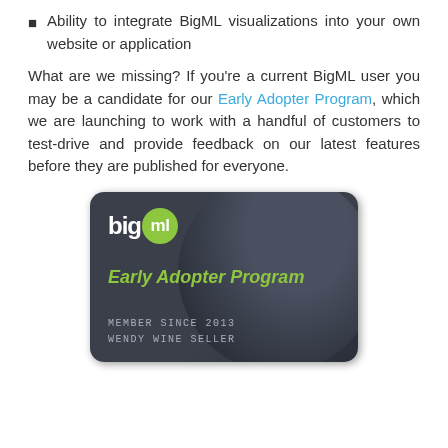Ability to integrate BigML visualizations into your own website or application
What are we missing? If you're a current BigML user you may be a candidate for our Early Adopter Program, which we are launching to work with a handful of customers to test-drive and provide feedback on our latest features before they are published for everyone.
[Figure (other): BigML Early Adopter Program membership card with dark background, BigML logo, green 'Early Adopter Program' text, and 'MEMBER SINCE 2013 / WENDY WINE SELLER' in monospace text.]